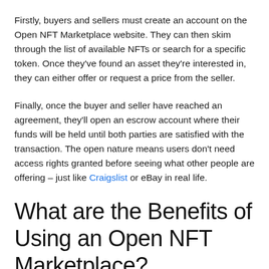Firstly, buyers and sellers must create an account on the Open NFT Marketplace website. They can then skim through the list of available NFTs or search for a specific token. Once they've found an asset they're interested in, they can either offer or request a price from the seller.
Finally, once the buyer and seller have reached an agreement, they'll open an escrow account where their funds will be held until both parties are satisfied with the transaction. The open nature means users don't need access rights granted before seeing what other people are offering – just like Craigslist or eBay in real life.
What are the Benefits of Using an Open NFT Marketplace?